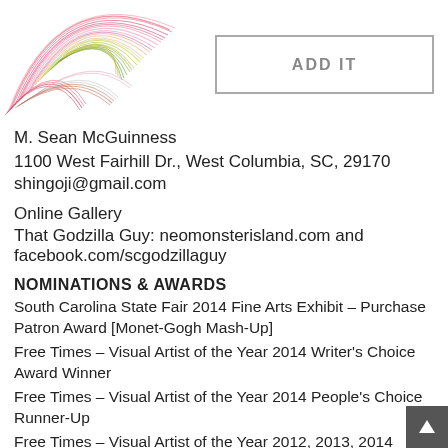[Figure (illustration): Colorful swirling circular artwork made of multicolored lines in red, pink, yellow, green tones forming a spiral/globe shape]
[Figure (other): ADD IT button — rectangular button with gray border and bold gray text 'ADD IT']
M. Sean McGuinness
1100 West Fairhill Dr., West Columbia, SC, 29170
shingoji@gmail.com
Online Gallery
That Godzilla Guy: neomonsterisland.com and facebook.com/scgodzillaguy
NOMINATIONS & AWARDS
South Carolina State Fair 2014 Fine Arts Exhibit – Purchase Patron Award [Monet-Gogh Mash-Up]
Free Times – Visual Artist of the Year 2014 Writer's Choice Award Winner
Free Times – Visual Artist of the Year 2014 People's Choice Runner-Up
Free Times – Visual Artist of the Year 2012, 2013, 2014